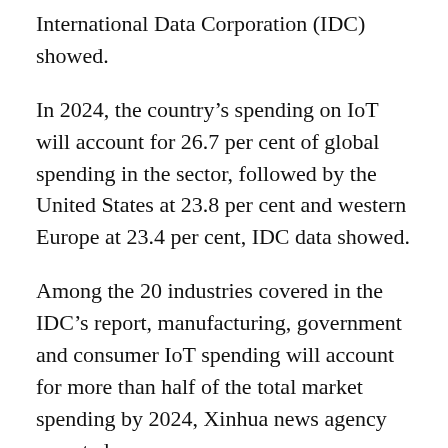International Data Corporation (IDC) showed.
In 2024, the country's spending on IoT will account for 26.7 per cent of global spending in the sector, followed by the United States at 23.8 per cent and western Europe at 23.4 per cent, IDC data showed.
Among the 20 industries covered in the IDC's report, manufacturing, government and consumer IoT spending will account for more than half of the total market spending by 2024, Xinhua news agency reported.
Jonathan Leung, a senior market analyst with IDC China, said the country saw disruptions in the IoT market due to COVID-19 and reduced IoT spending